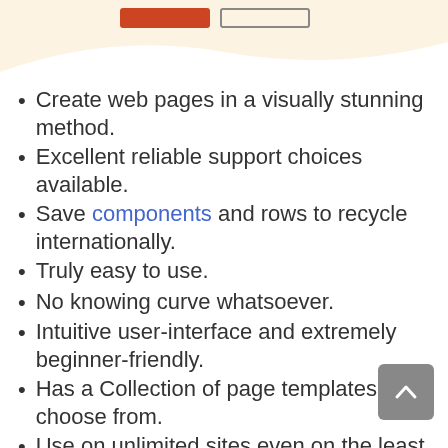[Figure (screenshot): Top banner area with cream/beige background, two buttons (orange filled and outlined gray), and a wave curve at the bottom separating banner from content area.]
Create web pages in a visually stunning method.
Excellent reliable support choices available.
Save components and rows to recycle internationally.
Truly easy to use.
No knowing curve whatsoever.
Intuitive user-interface and extremely beginner-friendly.
Has a Collection of page templates to choose from.
Use on unlimited sites even on the least expensive pricing plan.